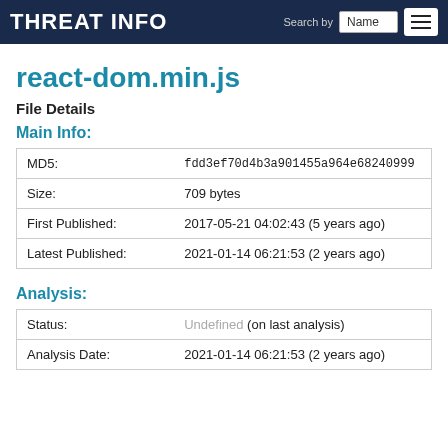THREAT INFO
react-dom.min.js
File Details
Main Info:
|  |  |
| --- | --- |
| MD5: | fdd3ef70d4b3a901455a964e68240999 |
| Size: | 709 bytes |
| First Published: | 2017-05-21 04:02:43 (5 years ago) |
| Latest Published: | 2021-01-14 06:21:53 (2 years ago) |
Analysis:
|  |  |
| --- | --- |
| Status: | Undefined (on last analysis) |
| Analysis Date: | 2021-01-14 06:21:53 (2 years ago) |